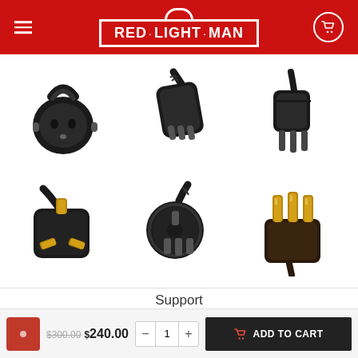RED·LIGHT·MAN
[Figure (photo): Six different international power plug connectors displayed in two rows of three, all black colored with some gold/brass pins, on white background]
Support
$300.00  $240.00  - 1 +  ADD TO CART